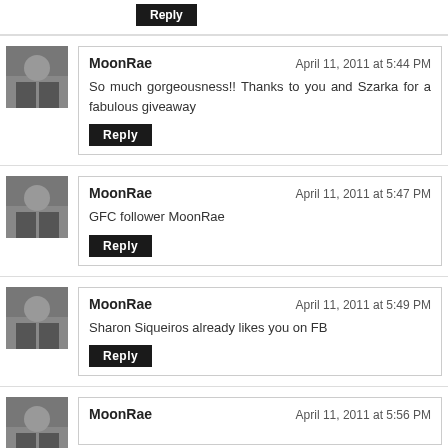Reply
MoonRae — April 11, 2011 at 5:44 PM — So much gorgeousness!! Thanks to you and Szarka for a fabulous giveaway — Reply
MoonRae — April 11, 2011 at 5:47 PM — GFC follower MoonRae — Reply
MoonRae — April 11, 2011 at 5:49 PM — Sharon Siqueiros already likes you on FB — Reply
MoonRae — April 11, 2011 at 5:56 PM